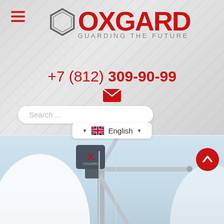[Figure (logo): OXGARD logo with diamond/hexagon mark and tagline GUARDING THE FUTURE]
+7 (812) 309-90-99
[Figure (other): Red envelope email icon]
Search ...
English
[Figure (photo): Photo of an OXGARD tripod turnstile with access control reader mounted on wall, light blue background]